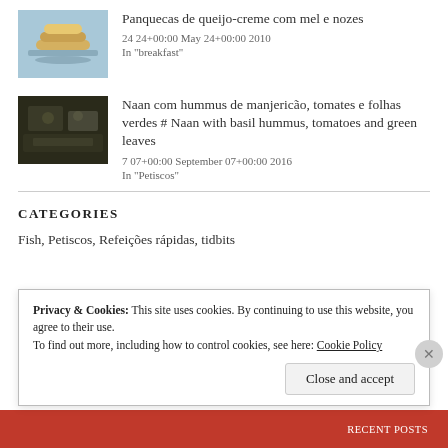[Figure (photo): Small thumbnail image of pancakes stacked on a blue plate]
Panquecas de queijo-creme com mel e nozes
24 24+00:00 May 24+00:00 2010
In "breakfast"
[Figure (photo): Small dark thumbnail image of Naan with hummus dish]
Naan com hummus de manjericão, tomates e folhas verdes # Naan with basil hummus, tomatoes and green leaves
7 07+00:00 September 07+00:00 2016
In "Petiscos"
CATEGORIES
Fish, Petiscos, Refeições rápidas, tidbits
Privacy & Cookies: This site uses cookies. By continuing to use this website, you agree to their use.
To find out more, including how to control cookies, see here: Cookie Policy
Close and accept